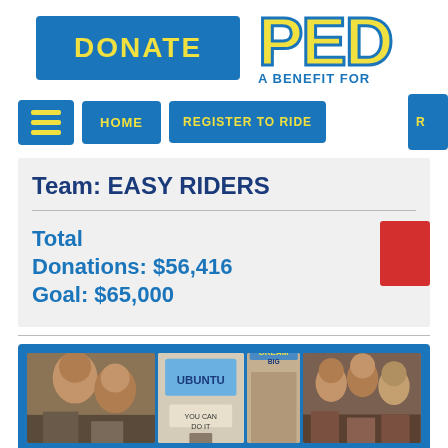[Figure (screenshot): DONATE button - blue rectangle with yellow bold text]
[Figure (logo): PEDO... logo with yellow outlined text and blue subtitle A BENEFIT FOR...]
[Figure (screenshot): Navigation bar with hamburger menu, HOME and REGISTER TO RIDE buttons]
Team: EASY RIDERS
Total Donations: $56,416 Goal: $65,000
[Figure (photo): Collage of photos showing children, including group shots and signs reading UBUNTU, YOU CAN DO IT]